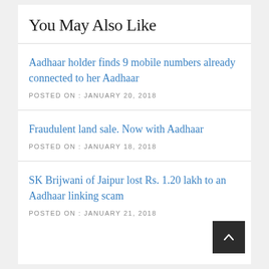You May Also Like
Aadhaar holder finds 9 mobile numbers already connected to her Aadhaar
POSTED ON : JANUARY 20, 2018
Fraudulent land sale. Now with Aadhaar
POSTED ON : JANUARY 18, 2018
SK Brijwani of Jaipur lost Rs. 1.20 lakh to an Aadhaar linking scam
POSTED ON : JANUARY 21, 2018